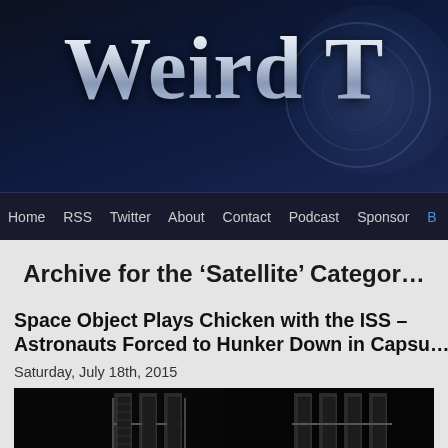[Figure (screenshot): Website header banner with 'Weird T...' logo in silver metallic stylized font on dark navy blue background with circular decorative element on right]
Home  RSS  Twitter  About  Contact  Podcast  Sponsor  B...
Archive for the ‘Satellite’ Categor...
Space Object Plays Chicken with the ISS – Astronauts Forced to Hunker Down in Capsu...
Saturday, July 18th, 2015
[Figure (photo): Partial photo of the International Space Station showing solar panels against black space background, image cropped on both sides]